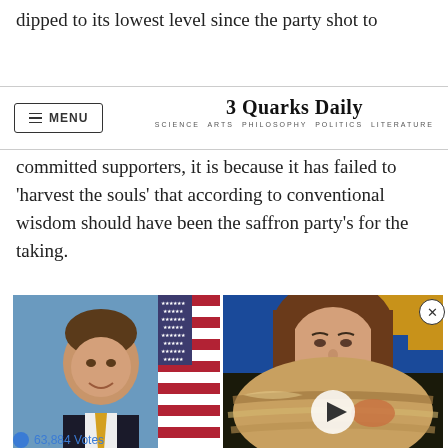dipped to its lowest level since the party shot to
3 Quarks Daily — SCIENCE ARTS PHILOSOPHY POLITICS LITERATURE
committed supporters, it is because it has failed to 'harvest the souls' that according to conventional wisdom should have been the saffron party's for the taking.
[Figure (photo): Two side-by-side photos: left shows a smiling man in a suit with an American flag in the background; right shows a woman with brown hair against a blue background. Below the right photo is a video player overlay showing a planetary image with a play button. A close button (X) appears at the top right of the composite.]
63,884 Votes